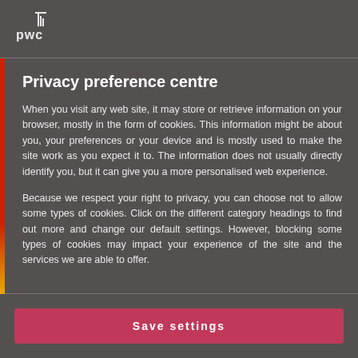pwc
Privacy preference centre
When you visit any web site, it may store or retrieve information on your browser, mostly in the form of cookies. This information might be about you, your preferences or your device and is mostly used to make the site work as you expect it to. The information does not usually directly identify you, but it can give you a more personalised web experience.
Because we respect your right to privacy, you can choose not to allow some types of cookies. Click on the different category headings to find out more and change our default settings. However, blocking some types of cookies may impact your experience of the site and the services we are able to offer.
Save settings